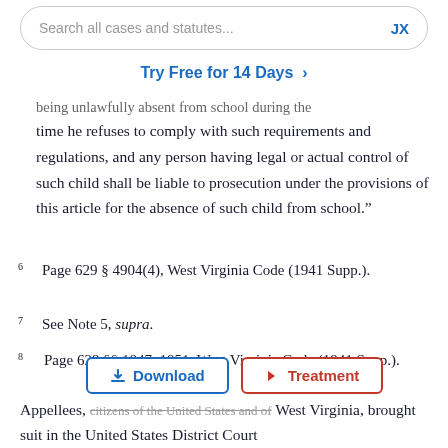Search all cases and statutes...   JX
Try Free for 14 Days >
being unlawfully absent from school during the time he refuses to comply with such requirements and regulations, and any person having legal or actual control of such child shall be liable to prosecution under the provisions of this article for the absence of such child from school.”
6   Page 629 § 4904(4), West Virginia Code (1941 Supp.).
7   See Note 5, supra.
8   Page 629 §§ 1847, 1851, West Virginia Code (1941 Supp.).
Appellees, citizens of the United States and of West Virginia, brought suit in the United States District Court